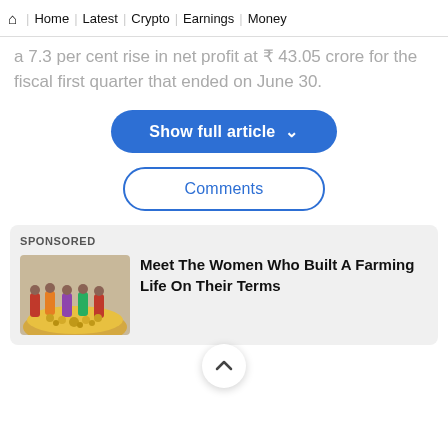Home | Latest | Crypto | Earnings | Money
a 7.3 per cent rise in net profit at ₹ 43.05 crore for the fiscal first quarter that ended on June 30.
[Figure (other): Blue rounded pill button labeled 'Show full article' with a chevron/down arrow]
[Figure (other): White rounded pill button with blue border labeled 'Comments']
SPONSORED
[Figure (photo): Photo of women in colorful saris working near a large pile of yellow/gold produce (farming scene)]
Meet The Women Who Built A Farming Life On Their Terms